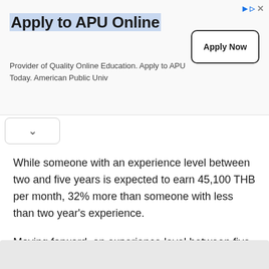[Figure (screenshot): Advertisement banner for APU Online with title 'Apply to APU Online', description text, and 'Apply Now' button]
While someone with an experience level between two and five years is expected to earn 45,100 THB per month, 32% more than someone with less than two year's experience.
Moving forward, an experience level between five and ten years lands a salary of 60,300 THB per month, 34% more than someone with two to five years of experience.